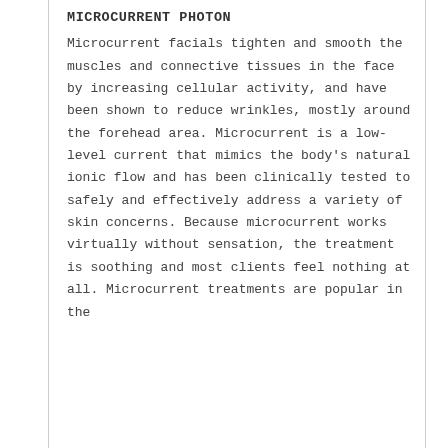MICROCURRENT PHOTON
Microcurrent facials tighten and smooth the muscles and connective tissues in the face by increasing cellular activity, and have been shown to reduce wrinkles, mostly around the forehead area. Microcurrent is a low-level current that mimics the body’s natural ionic flow and has been clinically tested to safely and effectively address a variety of skin concerns. Because microcurrent works virtually without sensation, the treatment is soothing and most clients feel nothing at all. Microcurrent treatments are popular in the